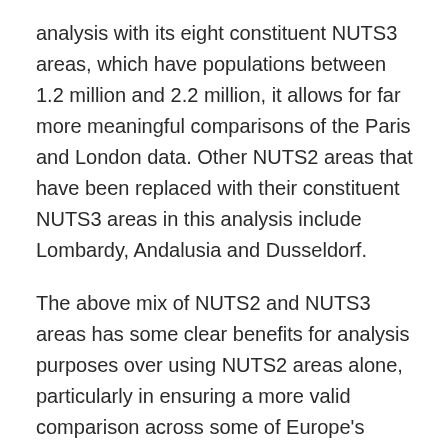analysis with its eight constituent NUTS3 areas, which have populations between 1.2 million and 2.2 million, it allows for far more meaningful comparisons of the Paris and London data. Other NUTS2 areas that have been replaced with their constituent NUTS3 areas in this analysis include Lombardy, Andalusia and Dusseldorf.
The above mix of NUTS2 and NUTS3 areas has some clear benefits for analysis purposes over using NUTS2 areas alone, particularly in ensuring a more valid comparison across some of Europe's largest cities. However, the method used is only one possible choice. A downside, for example, is that by introducing extra